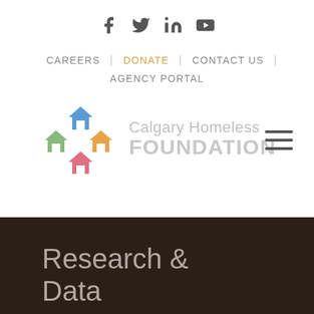[Figure (other): Social media icons: Facebook, Twitter, LinkedIn, YouTube]
CAREERS | DONATE | CONTACT US | AGENCY PORTAL
[Figure (logo): Calgary Homeless Foundation logo with four colored house icons (blue, green, orange, pink) and text 'Calgary Homeless FOUNDATION']
Research & Data